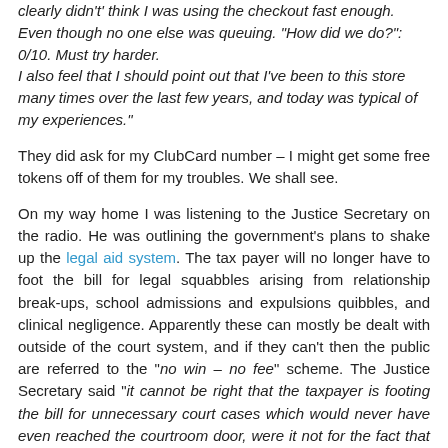clearly didn't' think I was using the checkout fast enough. Even though no one else was queuing. "How did we do?": 0/10. Must try harder. I also feel that I should point out that I've been to this store many times over the last few years, and today was typical of my experiences."
They did ask for my ClubCard number – I might get some free tokens off of them for my troubles. We shall see.
On my way home I was listening to the Justice Secretary on the radio. He was outlining the government's plans to shake up the legal aid system. The tax payer will no longer have to foot the bill for legal squabbles arising from relationship break-ups, school admissions and expulsions quibbles, and clinical negligence. Apparently these can mostly be dealt with outside of the court system, and if they can't then the public are referred to the "no win – no fee" scheme. The Justice Secretary said "it cannot be right that the taxpayer is footing the bill for unnecessary court cases which would never have even reached the courtroom door, were it not for the fact that somebody else was paying". He went on to say that the government is unhappy with the fact that we have a very litigious society, and that the government isn't going to subsidise it any more.
That is twice in less than seven days that I have found myself agreeing